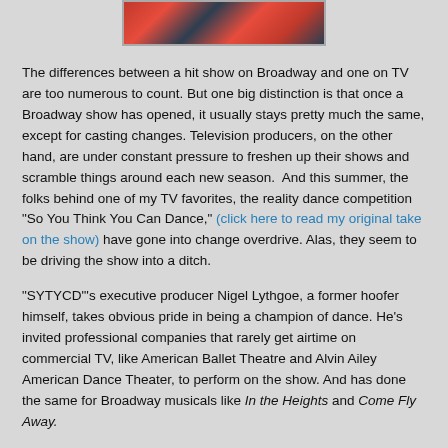[Figure (photo): Partial photo at top showing performers/dancers in costumes, cropped at top of page]
The differences between a hit show on Broadway and one on TV are too numerous to count. But one big distinction is that once a Broadway show has opened, it usually stays pretty much the same, except for casting changes. Television producers, on the other hand, are under constant pressure to freshen up their shows and scramble things around each new season.  And this summer, the folks behind one of my TV favorites, the reality dance competition "So You Think You Can Dance," (click here to read my original take on the show) have gone into change overdrive. Alas, they seem to be driving the show into a ditch.
"SYTYCD"'s executive producer Nigel Lythgoe, a former hoofer himself, takes obvious pride in being a champion of dance. He's invited professional companies that rarely get airtime on commercial TV, like American Ballet Theatre and Alvin Ailey American Dance Theater, to perform on the show. And has done the same for Broadway musicals like In the Heights and Come Fly Away.
Lythgoe has also set up a foundation to promote dance around the U.S. and initiated National Dance Day, which is being observed today. (Click